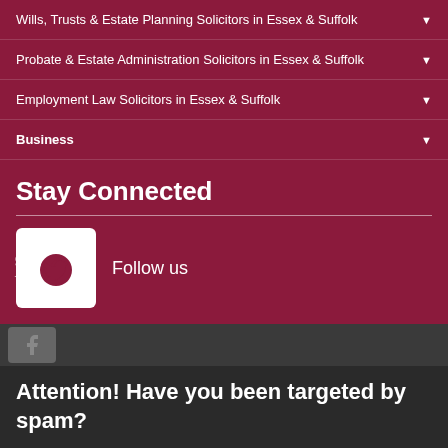Wills, Trusts & Estate Planning Solicitors in Essex & Suffolk
Probate & Estate Administration Solicitors in Essex & Suffolk
Employment Law Solicitors in Essex & Suffolk
Business
Stay Connected
Follow us
Attention! Have you been targeted by spam?
Cyber criminals are increasingly targeting victims by masquerading as law firms and financial institutions. Such activity is commonly known as phishing or spoofing. Click here for an example. If you are unsure as to the legitimacy of any unusual or suspicious emails received, please report to us on 0800 987 8156.
DISMISS